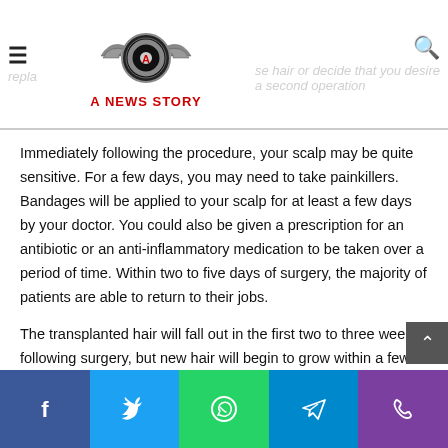A NEWS STORY
Immediately following the procedure, your scalp may be quite sensitive. For a few days, you may need to take painkillers. Bandages will be applied to your scalp for at least a few days by your doctor. You could also be given a prescription for an antibiotic or an anti-inflammatory medication to be taken over a period of time. Within two to five days of surgery, the majority of patients are able to return to their jobs.
The transplanted hair will fall out in the first two to three weeks following surgery, but new hair will begin to grow within a few months of the procedure. After six to nine months, most people should expect to see 60% of their new hair growth.